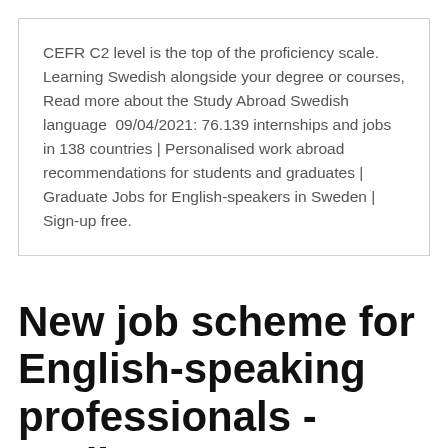CEFR C2 level is the top of the proficiency scale. Learning Swedish alongside your degree or courses, Read more about the Study Abroad Swedish language  09/04/2021: 76.139 internships and jobs in 138 countries | Personalised work abroad recommendations for students and graduates | Graduate Jobs for English-speakers in Sweden | Sign-up free.
New job scheme for English-speaking professionals - Radio